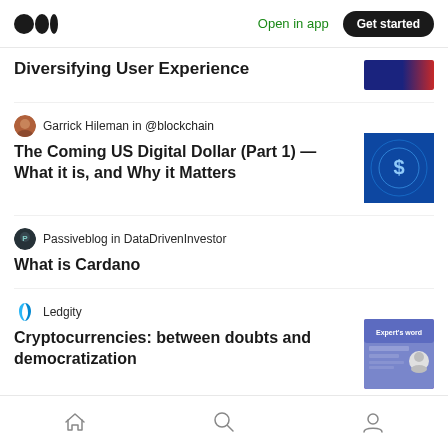Medium logo | Open in app | Get started
Diversifying User Experience
Garrick Hileman in @blockchain
The Coming US Digital Dollar (Part 1) — What it is, and Why it Matters
[Figure (photo): Blue glowing digital dollar sign image]
Passiveblog in DataDrivenInvestor
What is Cardano
Ledgity
Cryptocurrencies: between doubts and democratization
[Figure (photo): Ledgity expert's word card with person photo]
Home | Search | Profile